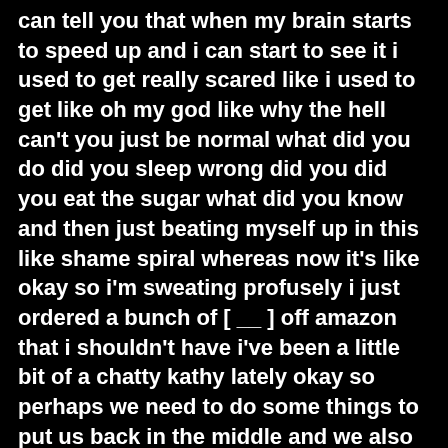can tell you that when my brain starts to speed up and i can start to see it i used to get really scared like i used to get like oh my god like why the hell can't you just be normal what did you do did you sleep wrong did you did you eat the sugar what did you know and then just beating myself up in this like shame spiral whereas now it's like okay so i'm sweating profusely i just ordered a bunch of [ __ ] off amazon that i shouldn't have i've been a little bit of a chatty kathy lately okay so perhaps we need to do some things to put us back in the middle and we also need to let our support network know that we're in a little bit of a not a danger zone but a gray area right now where it's kind of like